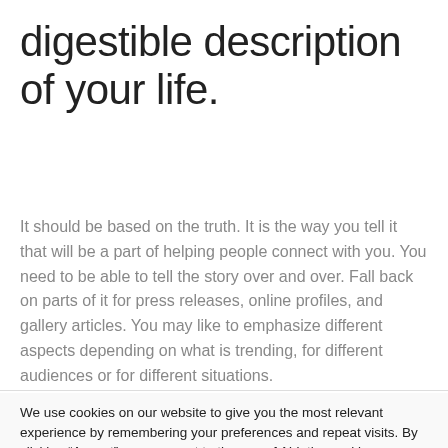digestible description of your life.
It should be based on the truth. It is the way you tell it that will be a part of helping people connect with you. You need to be able to tell the story over and over. Fall back on parts of it for press releases, online profiles, and gallery articles. You may like to emphasize different aspects depending on what is trending, for different audiences or for different situations.
We use cookies on our website to give you the most relevant experience by remembering your preferences and repeat visits. By clicking “Accept”, you consent to the use of ALL the cookies. Do not sell my personal information.